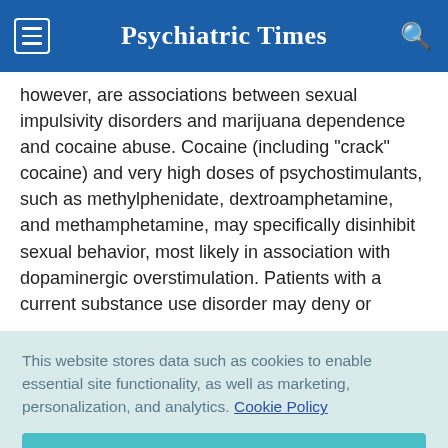Psychiatric Times
however, are associations between sexual impulsivity disorders and marijuana dependence and cocaine abuse. Cocaine (including "crack" cocaine) and very high doses of psychostimulants, such as methylphenidate, dextroamphetamine, and methamphetamine, may specifically disinhibit sexual behavior, most likely in association with dopaminergic overstimulation. Patients with a current substance use disorder may deny or
This website stores data such as cookies to enable essential site functionality, as well as marketing, personalization, and analytics. Cookie Policy
Accept
Deny